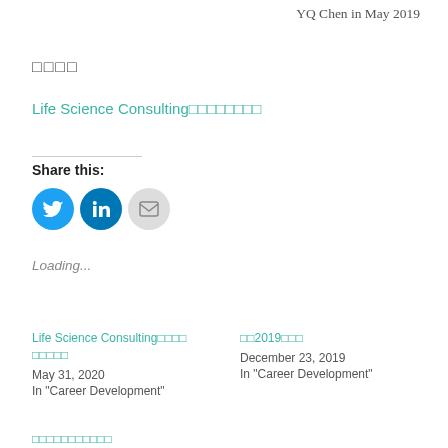YQ Chen in May 2019
□□□□
Life Science Consulting□□□□□□□□
Share this:
[Figure (other): Social share icons: Twitter (blue circle), LinkedIn (dark blue circle), Email (grey circle)]
Loading...
Life Science Consulting□□□□ □□□□□
May 31, 2020
In "Career Development"
□□2019□□□
December 23, 2019
In "Career Development"
□□□□□□□□□□□